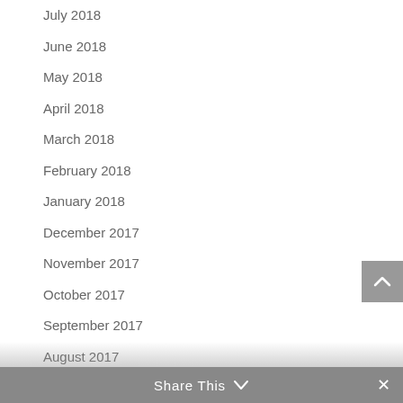July 2018
June 2018
May 2018
April 2018
March 2018
February 2018
January 2018
December 2017
November 2017
October 2017
September 2017
August 2017
July 2017
June 2017
May 2017
Share This ∨  ✕